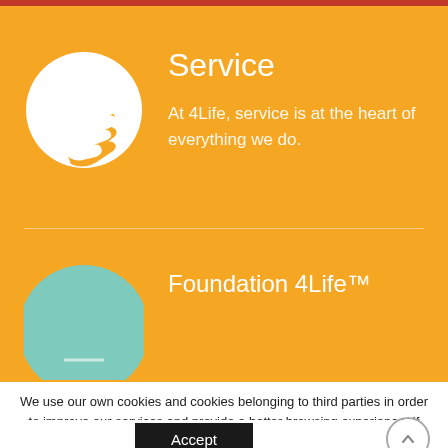[Figure (illustration): White circle icon with two hands shaking/reaching on orange background]
Service
At 4Life, service is at the heart of everything we do.
[Figure (illustration): Teal/mint colored circular icon partially visible, Foundation 4Life section on orange background]
Foundation 4Life™
We use our own cookies and cookies belonging to third parties in order to improve our services and provide a better browsing experience. If you continue browsing, it implies you accept their use. You will find more information in our Cookies Policy section.